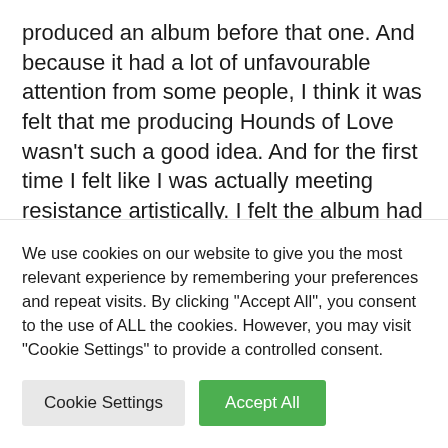produced an album before that one. And because it had a lot of unfavourable attention from some people, I think it was felt that me producing Hounds of Love wasn't such a good idea. And for the first time I felt like I was actually meeting resistance artistically. I felt the album had done very well to reach number 3 but I felt under a lot of pressure and I wanted to stay as close to my work as possible. And
We use cookies on our website to give you the most relevant experience by remembering your preferences and repeat visits. By clicking "Accept All", you consent to the use of ALL the cookies. However, you may visit "Cookie Settings" to provide a controlled consent.